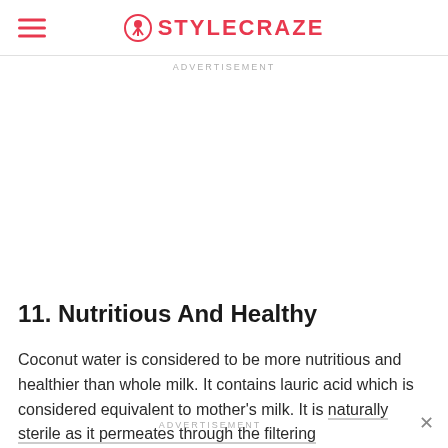STYLECRAZE
ADVERTISEMENT
11. Nutritious And Healthy
Coconut water is considered to be more nutritious and healthier than whole milk. It contains lauric acid which is considered equivalent to mother's milk. It is naturally sterile as it permeates through the filtering…
ADVERTISEMENT